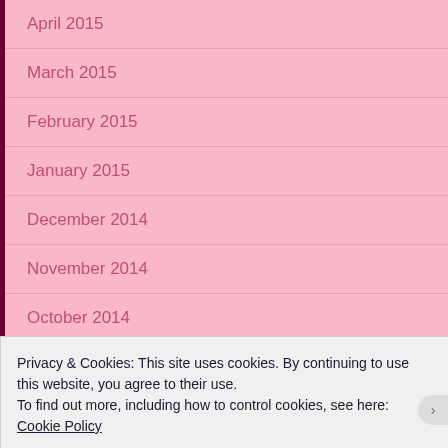April 2015
March 2015
February 2015
January 2015
December 2014
November 2014
October 2014
September 2014
CATEGORIES
Privacy & Cookies: This site uses cookies. By continuing to use this website, you agree to their use.
To find out more, including how to control cookies, see here: Cookie Policy
Close and accept